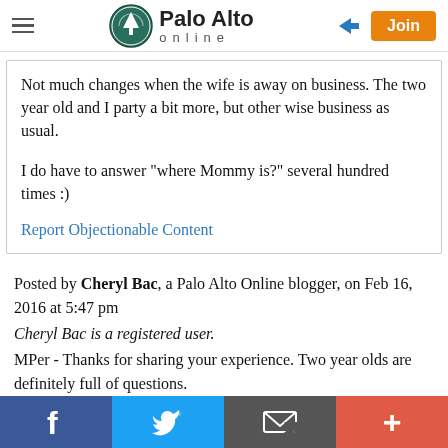Palo Alto online
Not much changes when the wife is away on business. The two year old and I party a bit more, but other wise business as usual.

I do have to answer "where Mommy is?" several hundred times :)
Report Objectionable Content
Posted by Cheryl Bac, a Palo Alto Online blogger, on Feb 16, 2016 at 5:47 pm
Cheryl Bac is a registered user.
MPer - Thanks for sharing your experience. Two year olds are definitely full of questions.
f  Twitter  Email  +